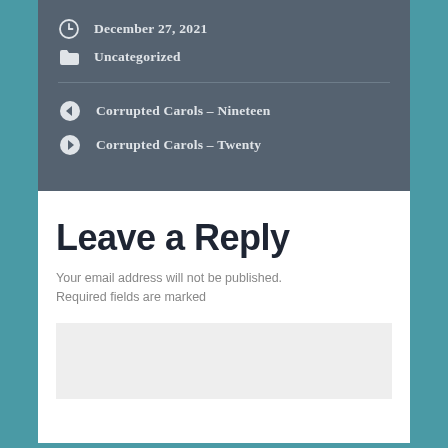December 27, 2021
Uncategorized
Corrupted Carols – Nineteen
Corrupted Carols – Twenty
Leave a Reply
Your email address will not be published. Required fields are marked